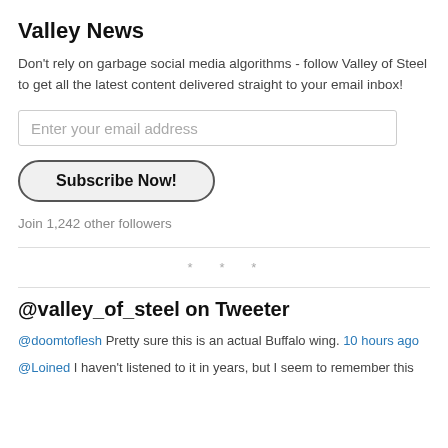Valley News
Don't rely on garbage social media algorithms - follow Valley of Steel to get all the latest content delivered straight to your email inbox!
Enter your email address
Subscribe Now!
Join 1,242 other followers
* * *
@valley_of_steel on Tweeter
@doomtoflesh Pretty sure this is an actual Buffalo wing. 10 hours ago
@Loined I haven't listened to it in years, but I seem to remember this